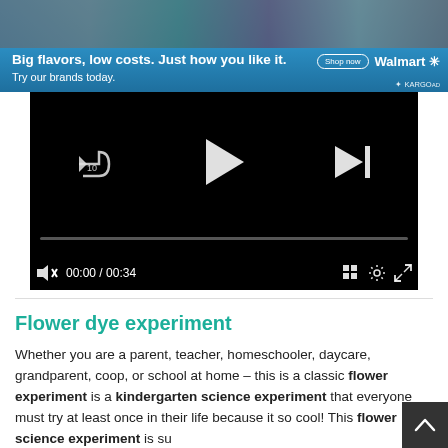[Figure (photo): Walmart advertisement banner with blue background showing food images, headline 'Big flavors, low costs. Just how you like it.', subtext 'Try our brands today.', Shop now button, and Walmart logo with KARGO AD tag]
[Figure (screenshot): Video player with black background showing media controls: rewind 10 seconds button, play button, skip forward button, progress bar, mute icon, time display '00:00 / 00:34', grid icon, settings gear icon, and fullscreen expand icon]
Flower dye experiment
Whether you are a parent, teacher, homeschooler, daycare, grandparent, coop, or school at home – this is a classic flower experiment is a kindergarten science experiment that everyone must try at least once in their life because it so cool! This flower science experiment is su...